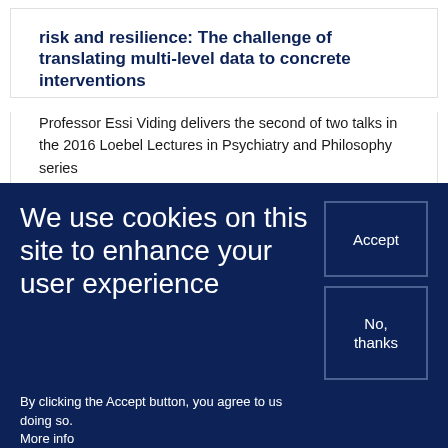risk and resilience: The challenge of translating multi-level data to concrete interventions
Professor Essi Viding delivers the second of two talks in the 2016 Loebel Lectures in Psychiatry and Philosophy series
We use cookies on this site to enhance your user experience
By clicking the Accept button, you agree to us doing so.
More info